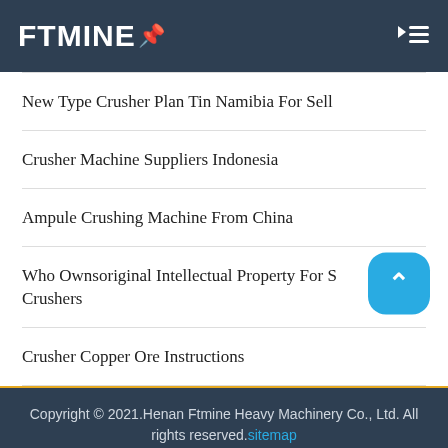FTMINE
New Type Crusher Plan Tin Namibia For Sell
Crusher Machine Suppliers Indonesia
Ampule Crushing Machine From China
Who Ownsoriginal Intellectual Property For S Crushers
Crusher Copper Ore Instructions
Copyright © 2021.Henan Ftmine Heavy Machinery Co., Ltd. All rights reserved.sitemap
Send Message
Free Consultation